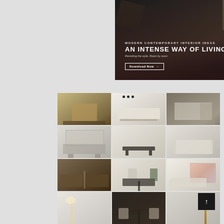[Figure (photo): Banner advertisement for 'Modern Contemporary Interior Ideas - An Intense Way of Living'. Dark moody interior design collage background with text overlay. Subtitle: MODERN CONTEMPORARY INTERIOR IDEAS. Title: AN INTENSE WAY OF LIVING. Description: Revisiting the style. Room by room. CTA button: Download Now with arrow.]
[Figure (photo): A large mosaic grid of modern contemporary interior design photography arranged in a 3-column by multiple-row grid layout. Images show living rooms, dining rooms, furniture pieces including sofas, chairs, dining tables, lighting fixtures, and decorative objects in neutral tones of beige, cream, taupe, and dark accents.]